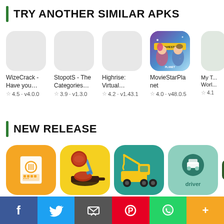TRY ANOTHER SIMILAR APKS
[Figure (screenshot): Row of app icons: WizeCrack (no icon shown), StopotS (no icon shown), Highrise (no icon shown), MovieStarPlanet (colorful game icon with cartoon characters), My T... Worl... (partially visible)]
WizeCrack - Have you… ☆ 4.5 · v4.0.0
StopotS - The Categories… ☆ 3.9 · v1.3.0
Highrise: Virtual… ☆ 4.2 · v1.43.1
MovieStarPlanet ☆ 4.0 · v48.0.5
My T... Worl... ☆ 4.1
NEW RELEASE
[Figure (screenshot): Row of new release app icons: orange menu/receipt app, yellow cooking game, teal tow truck app, mint/green driver app, dark green partially visible app]